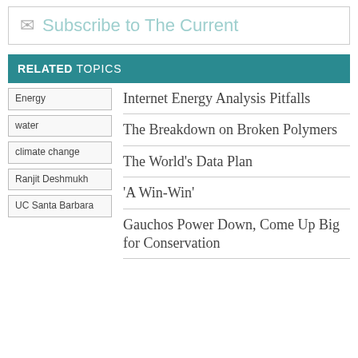Subscribe to The Current
RELATED TOPICS
Energy
water
climate change
Ranjit Deshmukh
UC Santa Barbara
Internet Energy Analysis Pitfalls
The Breakdown on Broken Polymers
The World's Data Plan
'A Win-Win'
Gauchos Power Down, Come Up Big for Conservation